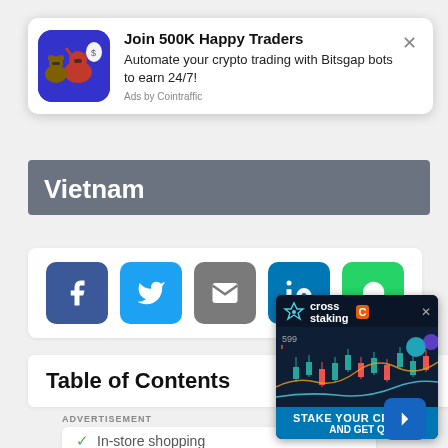[Figure (infographic): Ad popup: Join 500K Happy Traders. Automate your crypto trading with Bitsgap bots to earn 24/7! Ads by Cointraffic. Blue background image with cartoon animals.]
Vietnam
[Figure (infographic): Social sharing buttons: Facebook, Twitter, Email, LinkedIn, WhatsApp]
Table of Contents
ADVERTISEMENT
[Figure (infographic): Advertisement showing shopping options: checkmark In-store shopping, X In-store pickup, X Delivery. App icon shown.]
[Figure (infographic): Cross staking crypto advertisement with candlestick chart. Text: STAKE YOUR CRYPTO AND GET Q]